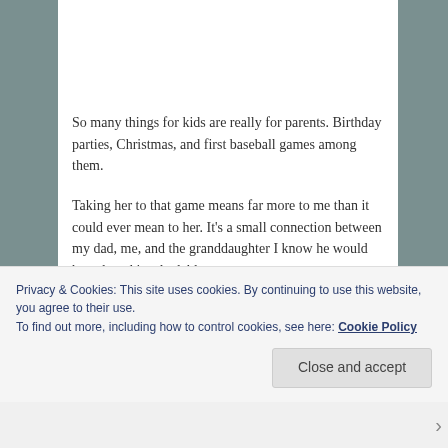So many things for kids are really for parents. Birthday parties, Christmas, and first baseball games among them.
Taking her to that game means far more to me than it could ever mean to her. It's a small connection between my dad, me, and the granddaughter I know he would have loved incalculably.
That's the essence of baseball right there. The past is alive in the present. Games end, seasons fade into the
Privacy & Cookies: This site uses cookies. By continuing to use this website, you agree to their use.
To find out more, including how to control cookies, see here: Cookie Policy
Close and accept